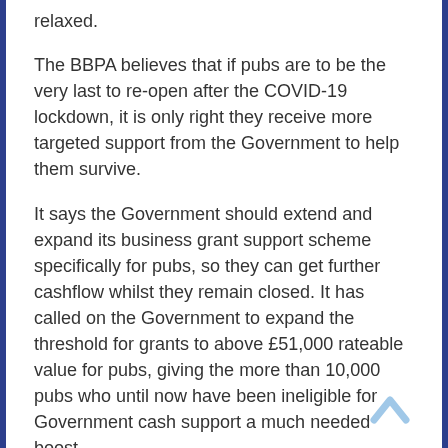relaxed.
The BBPA believes that if pubs are to be the very last to re-open after the COVID-19 lockdown, it is only right they receive more targeted support from the Government to help them survive.
It says the Government should extend and expand its business grant support scheme specifically for pubs, so they can get further cashflow whilst they remain closed. It has called on the Government to expand the threshold for grants to above £51,000 rateable value for pubs, giving the more than 10,000 pubs who until now have been ineligible for Government cash support a much needed boost.
The BBPA has also said an extension of the furlough scheme for pubs would also be pivotal in saving many of the million jobs created by the sector.